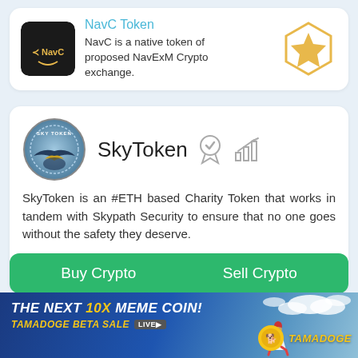[Figure (logo): NavC Token logo - dark background with NavC text and arrow icon, gold star hexagon badge]
NavC Token
NavC is a native token of proposed NavExM Crypto exchange.
[Figure (logo): SkyToken circular logo with sky/eagle design]
SkyToken
SkyToken is an #ETH based Charity Token that works in tandem with Skypath Security to ensure that no one goes without the safety they deserve.
Buy Crypto    Sell Crypto
ICO Details  About  Roadmap  Activity  Team  News
[Figure (infographic): Tamadoge advertisement banner - THE NEXT 10X MEME COIN! TAMADOGE BETA SALE LIVE - with rocket illustration and Tamadoge logo]